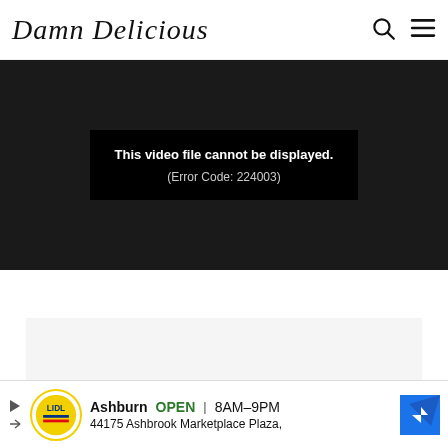Damn Delicious
[Figure (screenshot): Video player error screen showing black background with white text: 'This video file cannot be displayed. (Error Code: 224003)']
This video file cannot be displayed. (Error Code: 224003)
[Figure (other): Gray placeholder content area]
Ashburn  OPEN | 8AM–9PM  44175 Ashbrook Marketplace Plaza,